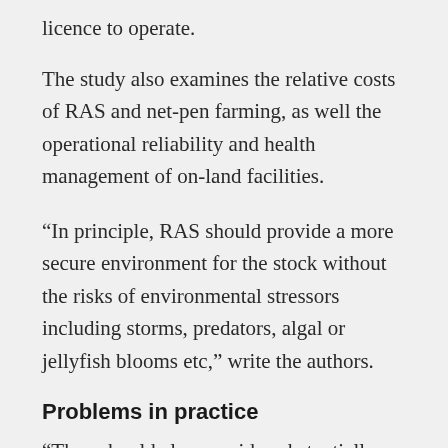licence to operate.
The study also examines the relative costs of RAS and net-pen farming, as well the operational reliability and health management of on-land facilities.
“In principle, RAS should provide a more secure environment for the stock without the risks of environmental stressors including storms, predators, algal or jellyfish blooms etc,” write the authors.
Problems in practice
“They should also provide substantially better biosecurity, resulting in lower